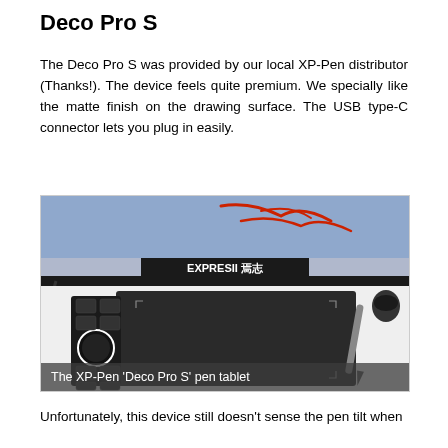Deco Pro S
The Deco Pro S was provided by our local XP-Pen distributor (Thanks!). The device feels quite premium. We specially like the matte finish on the drawing surface. The USB type-C connector lets you plug in easily.
[Figure (photo): Photo of the XP-Pen 'Deco Pro S' pen tablet with stylus pen, dial control, and a monitor showing red brush strokes in the background]
The XP-Pen 'Deco Pro S' pen tablet
Unfortunately, this device still  doesn't sense the pen tilt  when